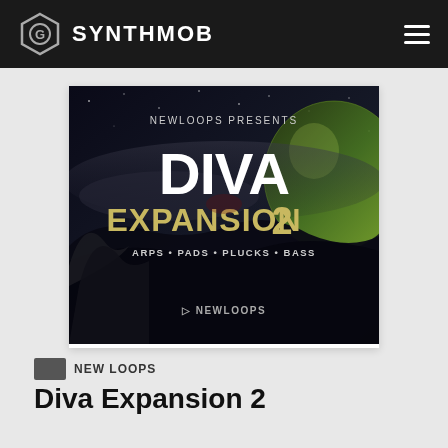SYNTHMOB
[Figure (illustration): Diva Expansion 2 product artwork by New Loops — dark sci-fi space scene with text: NEWLOOPS PRESENTS, DIVA EXPANSION 2, ARPS • PADS • PLUCKS • BASS, NEWLOOPS logo]
NEW LOOPS
Diva Expansion 2